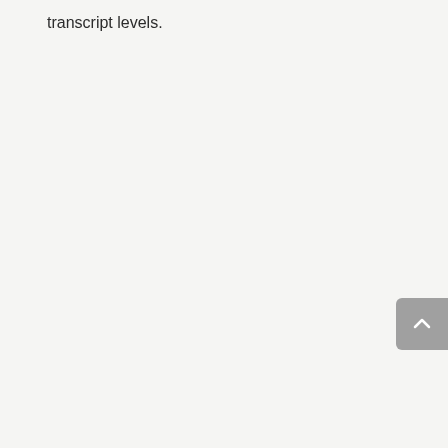transcript levels.
[Figure (other): Scroll-to-top button, a grey rounded rectangle with a white upward chevron arrow icon, positioned at the right edge of the page.]